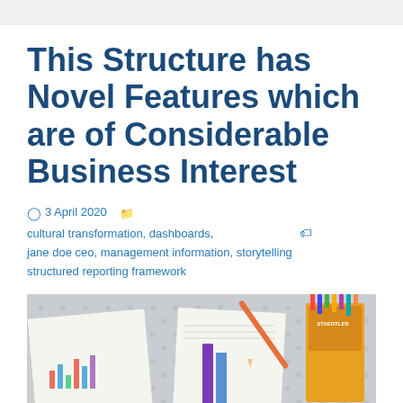This Structure has Novel Features which are of Considerable Business Interest
3 April 2020   cultural transformation, dashboards, jane doe ceo, management information, storytelling   structured reporting framework
[Figure (photo): Overhead photo of a table with papers showing charts/graphs, a pencil, a ruler, and colored pencils on a light grey polka-dot fabric]